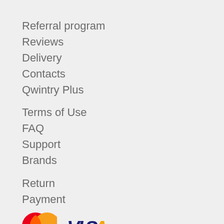Referral program
Reviews
Delivery
Contacts
Qwintry Plus
Terms of Use
FAQ
Support
Brands
Return
Payment
[Figure (logo): Mastercard logo with two overlapping circles (red and orange) and 'mastercard' text below]
[Figure (logo): Visa logo in blue and yellow italic text]
Interesting stories, discounts and promos:
[Figure (logo): Three partial social media icon circles at the bottom]